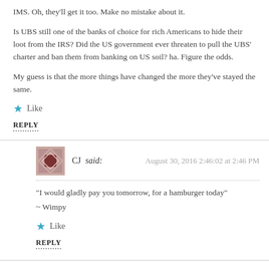IMS. Oh, they'll get it too. Make no mistake about it.
Is UBS still one of the banks of choice for rich Americans to hide their loot from the IRS? Did the US government ever threaten to pull the UBS' charter and ban them from banking on US soil? ha. Figure the odds.
My guess is that the more things have changed the more they've stayed the same.
Like
REPLY
CJ said: August 30, 2016 2:46:02 at 2:46 PM
“I would gladly pay you tomorrow, for a hamburger today”
~ Wimpy
Like
REPLY